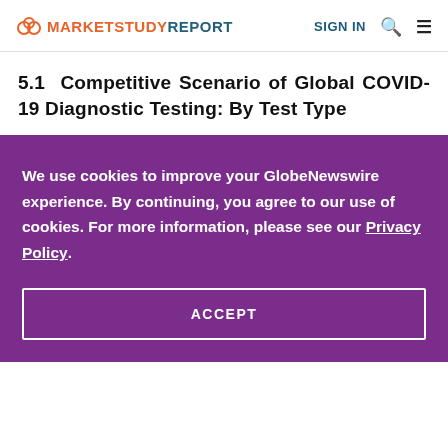MARKET STUDY REPORT | SIGN IN
5.1 Competitive Scenario of Global COVID-19 Diagnostic Testing: By Test Type
We use cookies to improve your GlobeNewswire experience. By continuing, you agree to our use of cookies. For more information, please see our Privacy Policy.
ACCEPT